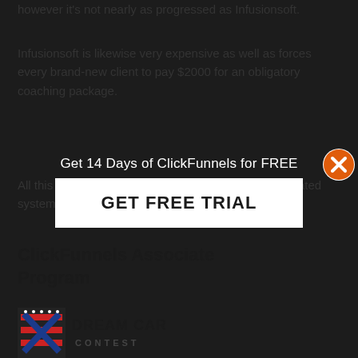however it's not nearly as progressed as Infusionsoft.
Infusionsoft is likewise very expensive as well as forces every brand-new client to pay $2000 for an obligatory coaching package.
All this to teach you the best ways to use the complicated system. Which is notoriously hard to use.
[Figure (infographic): Popup overlay with text 'Get 14 Days of ClickFunnels for FREE' and a white button labeled 'GET FREE TRIAL', with an orange X close button in the top right corner]
ClickFunnels Associate Program
[Figure (logo): Dream Car Contest logo with red/blue flag-like icon and bold text 'DREAM CAR CONTEST']